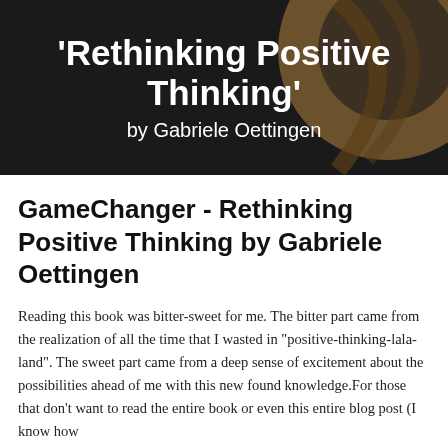'Rethinking Positive Thinking' by Gabriele Oettingen
GameChanger - Rethinking Positive Thinking by Gabriele Oettingen
Reading this book was bitter-sweet for me. The bitter part came from the realization of all the time that I wasted in "positive-thinking-lala-land". The sweet part came from a deep sense of excitement about the possibilities ahead of me with this new found knowledge.For those that don't want to read the entire book or even this entire blog post (I know how